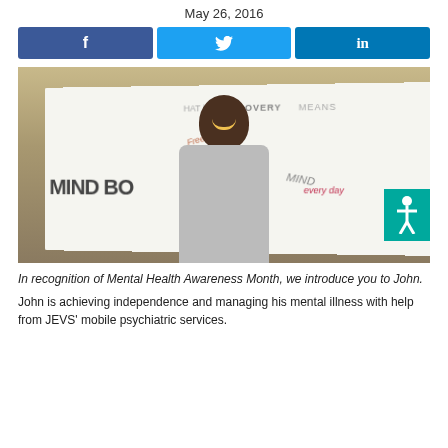May 26, 2016
[Figure (other): Three social media share buttons: Facebook (blue), Twitter (light blue), LinkedIn (dark blue)]
[Figure (photo): A smiling Black man in a gray t-shirt standing in front of a whiteboard with words like 'RECOVERY MEANS', 'MIND BODY', 'Freedom', 'every day' written on it. An accessibility icon (teal background with stick figure) is in the upper right corner of the photo.]
In recognition of Mental Health Awareness Month, we introduce you to John.
John is achieving independence and managing his mental illness with help from JEVS’ mobile psychiatric services.